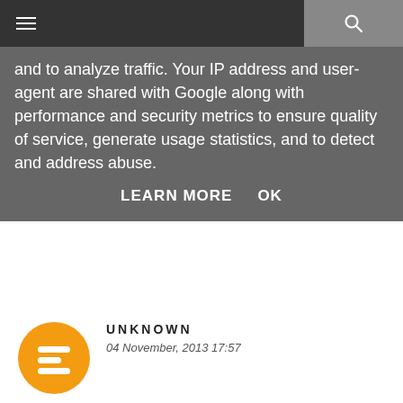Navigation bar with hamburger menu and search icon
and to analyze traffic. Your IP address and user-agent are shared with Google along with performance and security metrics to ensure quality of service, generate usage statistics, and to detect and address abuse.
LEARN MORE   OK
MR K.
04 November, 2013 17:36
Love this hat! ; )
Reply
UNKNOWN
04 November, 2013 17:57